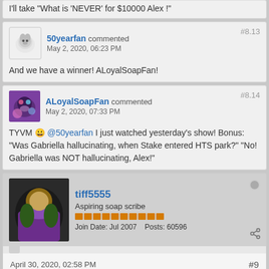I'll take "What is 'NEVER' for $10000 Alex !"
50yearfan commented #8.13 May 2, 2020, 06:23 PM
And we have a winner! ALoyalSoapFan!
ALoyalSoapFan commented #8.14 May 2, 2020, 07:33 PM
TYVM 🙂 @50yearfan I just watched yesterday's show! Bonus: "Was Gabriella hallucinating, when Stake entered HTS park?" "No! Gabriella was NOT hallucinating, Alex!"
tiff5555 - Aspiring soap scribe - Join Date: Jul 2007   Posts: 60596
April 30, 2020, 02:58 PM #9
Abby has to deal with her illness. She is afraid of getting treated. But she has too. 2 weeks is not enough.